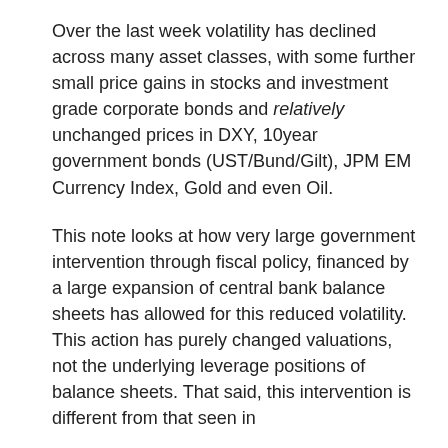Over the last week volatility has declined across many asset classes, with some further small price gains in stocks and investment grade corporate bonds and relatively unchanged prices in DXY, 10year government bonds (UST/Bund/Gilt), JPM EM Currency Index, Gold and even Oil.
This note looks at how very large government intervention through fiscal policy, financed by a large expansion of central bank balance sheets has allowed for this reduced volatility. This action has purely changed valuations, not the underlying leverage positions of balance sheets. That said, this intervention is different from that seen in